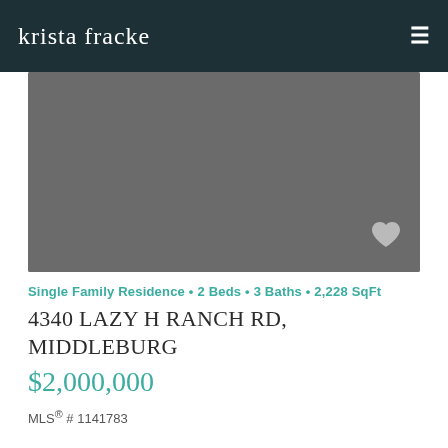krista fracke
[Figure (photo): Property listing photo placeholder — dark gray rectangle representing a property image with a heart/favorite icon in the bottom right corner]
Single Family Residence • 2 Beds • 3 Baths • 2,228 SqFt
4340 LAZY H RANCH RD, MIDDLEBURG
$2,000,000
MLS® # 1141783